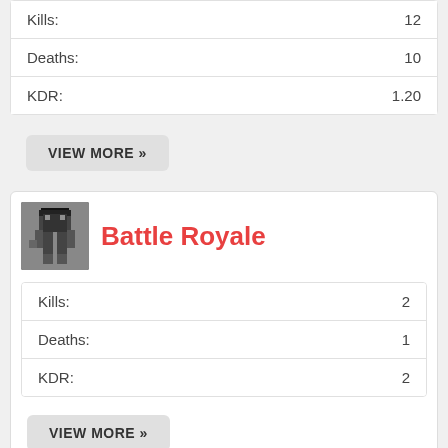| Stat | Value |
| --- | --- |
| Kills: | 12 |
| Deaths: | 10 |
| KDR: | 1.20 |
VIEW MORE »
Battle Royale
| Stat | Value |
| --- | --- |
| Kills: | 2 |
| Deaths: | 1 |
| KDR: | 2 |
VIEW MORE »